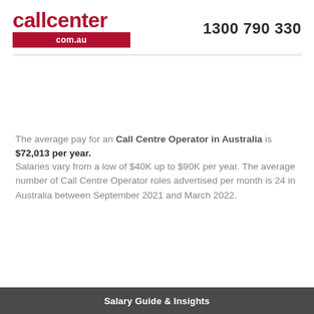[Figure (logo): callcenter.com.au logo with red text and red bar]
1300 790 330
The average pay for an Call Centre Operator in Australia is $72,013 per year. Salaries vary from a low of $40K up to $90K per year. The average number of Call Centre Operator roles advertised per month is 24 in Australia between September 2021 and March 2022.
Salary Guide & Insights